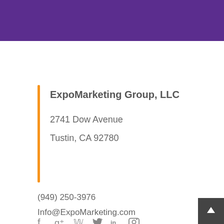ExpoMarketing Group, LLC
2741 Dow Avenue
Tustin, CA 92780
(949) 250-3976
Info@ExpoMarketing.com
[Figure (other): Social media icons: Facebook, Google+, Twitter, LinkedIn, Instagram]